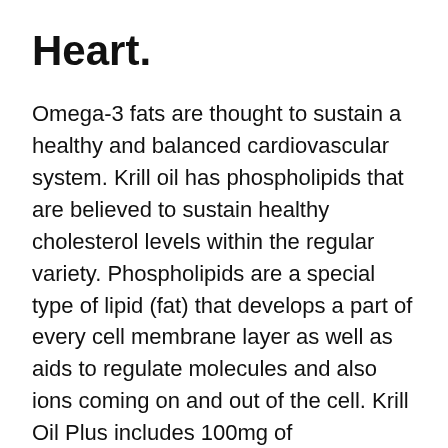Heart.
Omega-3 fats are thought to sustain a healthy and balanced cardiovascular system. Krill oil has phospholipids that are believed to sustain healthy cholesterol levels within the regular variety. Phospholipids are a special type of lipid (fat) that develops a part of every cell membrane layer as well as aids to regulate molecules and also ions coming on and out of the cell. Krill Oil Plus includes 100mg of phospholipids in a regular serving. The researches have revealed a mix of results, some great, some poor. I located a research study that contrasts older and more current studies to find the factors for the different results of omega-3 fatty acids. The